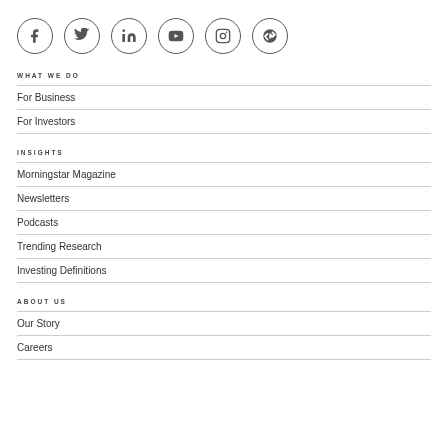[Figure (illustration): Six social media icons in circles: Facebook, Twitter, LinkedIn, YouTube, Instagram, Apple News]
WHAT WE DO
For Business
For Investors
INSIGHTS
Morningstar Magazine
Newsletters
Podcasts
Trending Research
Investing Definitions
ABOUT US
Our Story
Careers